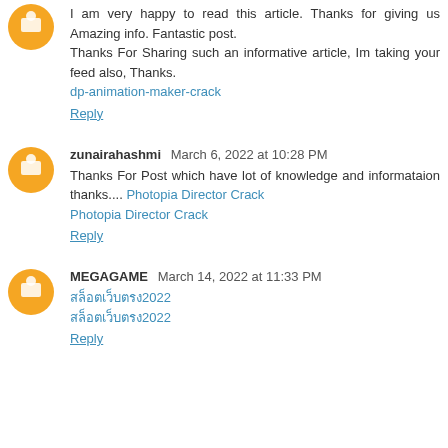I am very happy to read this article. Thanks for giving us Amazing info. Fantastic post.
Thanks For Sharing such an informative article, Im taking your feed also, Thanks.
dp-animation-maker-crack
Reply
zunairahashmi March 6, 2022 at 10:28 PM
Thanks For Post which have lot of knowledge and informataion thanks.... Photopia Director Crack
Photopia Director Crack
Reply
MEGAGAME March 14, 2022 at 11:33 PM
สล็อตเว็บตรง2022
สล็อตเว็บตรง2022
Reply